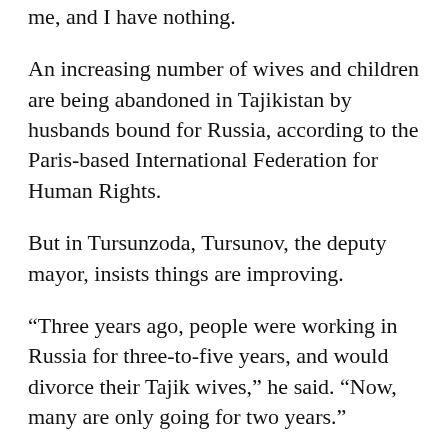me, and I have nothing.
An increasing number of wives and children are being abandoned in Tajikistan by husbands bound for Russia, according to the Paris-based International Federation for Human Rights.
But in Tursunzoda, Tursunov, the deputy mayor, insists things are improving.
“Three years ago, people were working in Russia for three-to-five years, and would divorce their Tajik wives,” he said. “Now, many are only going for two years.”
Tursunzoda has also started a “special program” for Tajiks heading to Russia. “We